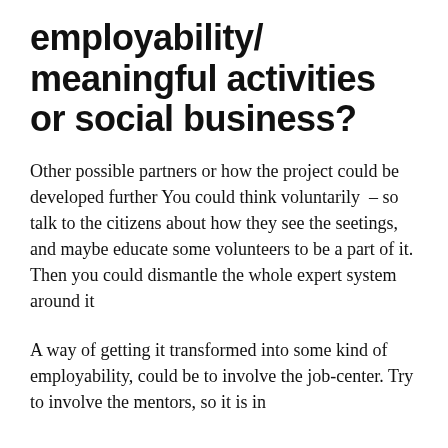employability/ meaningful activities or social business?
Other possible partners or how the project could be developed further You could think voluntarily  – so talk to the citizens about how they see the seetings, and maybe educate some volunteers to be a part of it. Then you could dismantle the whole expert system around it
A way of getting it transformed into some kind of employability, could be to involve the job-center. Try to involve the mentors, so it is in